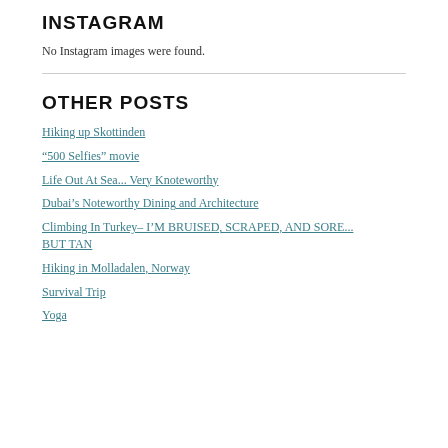INSTAGRAM
No Instagram images were found.
OTHER POSTS
Hiking up Skottinden
“500 Selfies” movie
Life Out At Sea... Very Knoteworthy
Dubai’s Noteworthy Dining and Architecture
Climbing In Turkey– I’M BRUISED, SCRAPED, AND SORE... BUT TAN
Hiking in Molladalen, Norway
Survival Trip
Yoga